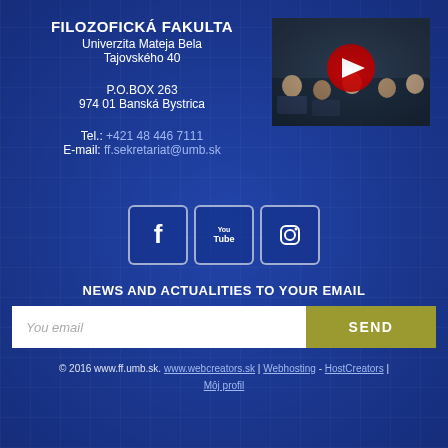FILOZOFICKÁ FAKULTA
Univerzita Mateja Bela
Tajovského 40
[Figure (photo): Video thumbnail showing a university lecture hall with students, with a YouTube play button overlay]
P.O.BOX 263
974 01 Banská Bystrica
Tel.: +421 48 446 7111
E-mail: ff.sekretariat@umb.sk
[Figure (logo): Social media icons: Facebook, YouTube, Instagram]
NEWS AND ACTUALITIES TO YOUR EMAIL
You email
SEND
© 2016 www.ff.umb.sk. www.webcreators.sk | Webhosting - HostCreators | Môj profil